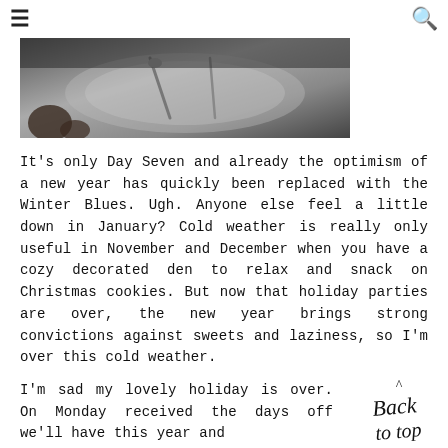☰  🔍
[Figure (photo): Partial view of a plate with cutlery, desaturated/dark toned photo, cropped at top]
It's only Day Seven and already the optimism of a new year has quickly been replaced with the Winter Blues. Ugh. Anyone else feel a little down in January? Cold weather is really only useful in November and December when you have a cozy decorated den to relax and snack on Christmas cookies. But now that holiday parties are over, the new year brings strong convictions against sweets and laziness, so I'm over this cold weather.
I'm sad my lovely holiday is over. On Monday received the days off we'll have this year and
[Figure (illustration): Handwritten cursive text reading 'Back to top' with a caret/arrow above it]